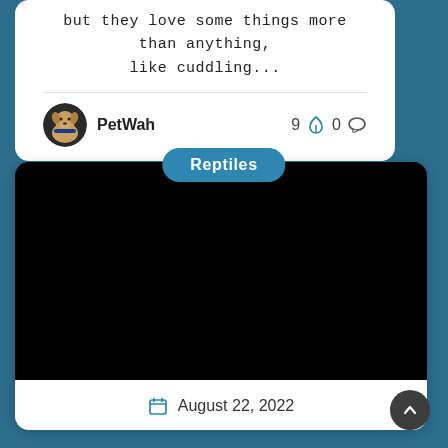but they love some things more than anything, like cuddling...
PetWah  9  0
Reptiles
[Figure (photo): Black video thumbnail placeholder]
August 22, 2022